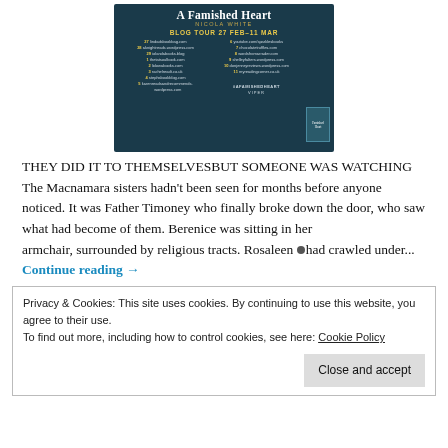[Figure (illustration): Blog tour banner for 'A Famished Heart' by Nicola White. Dark teal wood-plank background. Title in white bold serif at top, author in small gold caps, 'BLOG TOUR 27 FEB–11 MAR' in yellow bold. Two columns listing blog stop dates and website names (27–5 on left, 6–11 on right), #AFAMISHEDHEART hashtag, VIPER imprint, and a small book cover image on the right.]
THEY DID IT TO THEMSELVESBUT SOMEONE WAS WATCHING The Macnamara sisters hadn't been seen for months before anyone noticed. It was Father Timoney who finally broke down the door, who saw what had become of them. Berenice was sitting in her armchair, surrounded by religious tracts. Rosaleen •had crawled under... Continue reading →
Privacy & Cookies: This site uses cookies. By continuing to use this website, you agree to their use.
To find out more, including how to control cookies, see here: Cookie Policy
Close and accept